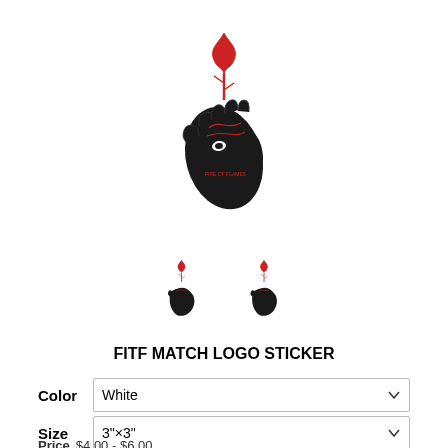[Figure (illustration): FITF Match Logo sticker illustration: a dark hand holding a lit match with a red flame/tree design on top, shown in large and two small thumbnail versions]
FITF MATCH LOGO STICKER
Color  White
Size  3"×3"
Price  $4.00 - $6.00